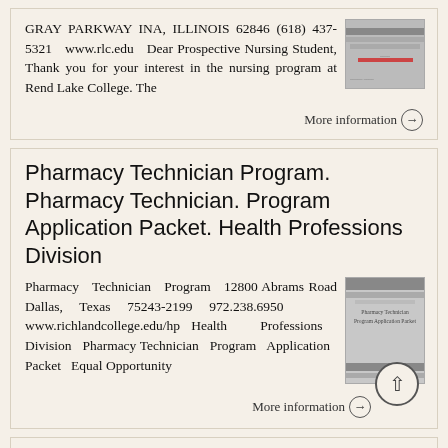GRAY PARKWAY INA, ILLINOIS 62846 (618) 437-5321 www.rlc.edu Dear Prospective Nursing Student, Thank you for your interest in the nursing program at Rend Lake College. The
More information →
Pharmacy Technician Program. Pharmacy Technician. Program Application Packet. Health Professions Division
Pharmacy Technician Program 12800 Abrams Road Dallas, Texas 75243-2199 972.238.6950 www.richlandcollege.edu/hp Health Professions Division Pharmacy Technician Program Application Packet Equal Opportunity
More information →
R...n PHYSICAL THERAPIST ASSISTANT